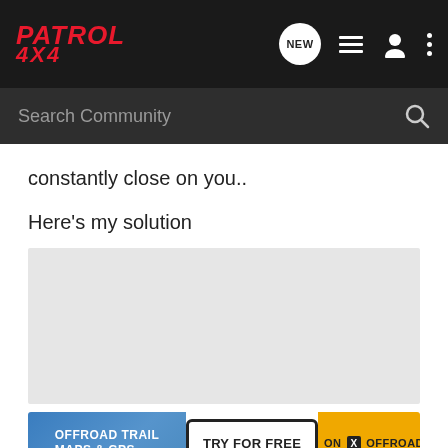PATROL 4X4 — navigation bar with NEW, list, user, and menu icons
Search Community
constantly close on you..
Here's my solution
[Figure (photo): Large light gray placeholder image area]
[Figure (infographic): Ad banner: OFFROAD TRAIL MAPS & GPS | TRY FOR FREE | ON X OFFROAD]